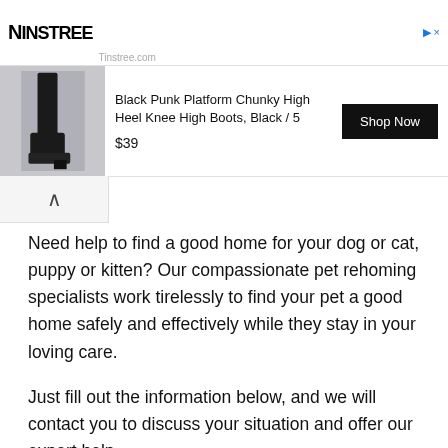[Figure (screenshot): Tinstree.com advertisement banner with logo, product image of Black Punk Platform Chunky High Heel Knee High Boots, price $39, and Shop Now button]
Need help to find a good home for your dog or cat, puppy or kitten? Our compassionate pet rehoming specialists work tirelessly to find your pet a good home safely and effectively while they stay in your loving care.
Just fill out the information below, and we will contact you to discuss your situation and offer our expert help. "*" indicates required fields
Your Name
First